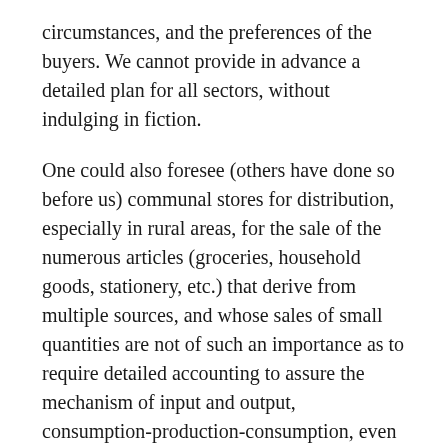circumstances, and the preferences of the buyers. We cannot provide in advance a detailed plan for all sectors, without indulging in fiction.
One could also foresee (others have done so before us) communal stores for distribution, especially in rural areas, for the sale of the numerous articles (groceries, household goods, stationery, etc.) that derive from multiple sources, and whose sales of small quantities are not of such an importance as to require detailed accounting to assure the mechanism of input and output, consumption-production-consumption, even one as simple as the one we outlined above. The “industrial concentration” which is just as necessary in numerous areas as decentralization is in others, will certainly facilitate this process of adjustment. In all such cases, however, distribution will be an